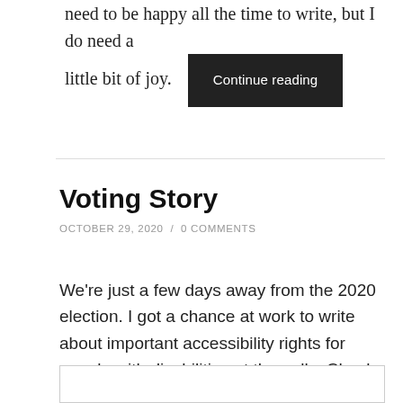need to be happy all the time to write, but I do need a little bit of joy. Continue reading
Voting Story
OCTOBER 29, 2020 / 0 COMMENTS
We're just a few days away from the 2020 election. I got a chance at work to write about important accessibility rights for people with disabilities at the polls. Check it out!